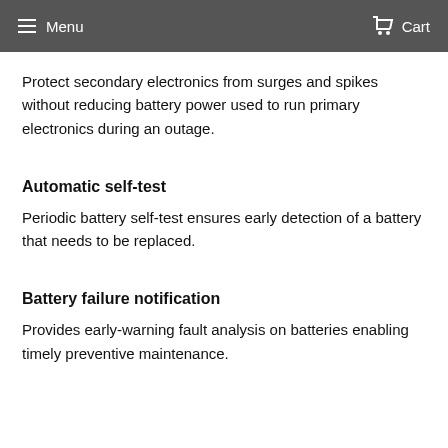Menu   Cart
Protect secondary electronics from surges and spikes without reducing battery power used to run primary electronics during an outage.
Automatic self-test
Periodic battery self-test ensures early detection of a battery that needs to be replaced.
Battery failure notification
Provides early-warning fault analysis on batteries enabling timely preventive maintenance.